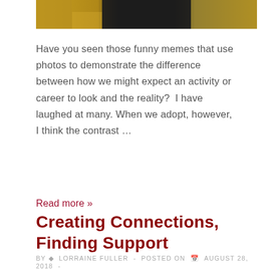[Figure (photo): Partial hero image showing warm golden-brown and dark tones, appears to be a cropped photo at the top of the page.]
Have you seen those funny memes that use photos to demonstrate the difference between how we might expect an activity or career to look and the reality?  I have laughed at many. When we adopt, however,  I think the contrast …
Read more »
Creating Connections,  Finding Support
BY  LORRAINE FULLER  -  POSTED ON  AUGUST 28, 2018  -